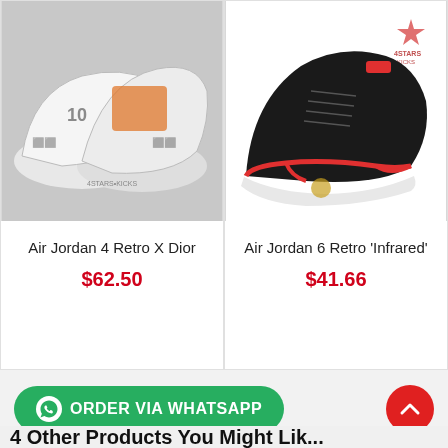[Figure (photo): Air Jordan 4 Retro X Dior sneakers pair on orange Nike box background]
Air Jordan 4 Retro X Dior
$62.50
[Figure (photo): Air Jordan 6 Retro Infrared black sneaker with red accents and white sole, 4Stars logo in top right]
Air Jordan 6 Retro 'Infrared'
$41.66
ORDER VIA WHATSAPP
4 Other Products You Might Like